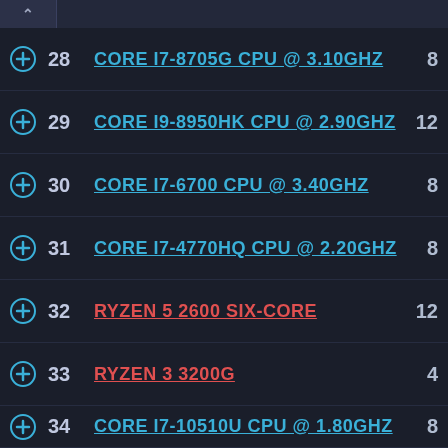28 CORE I7-8705G CPU @ 3.10GHZ 8
29 CORE I9-8950HK CPU @ 2.90GHZ 12
30 CORE I7-6700 CPU @ 3.40GHZ 8
31 CORE I7-4770HQ CPU @ 2.20GHZ 8
32 RYZEN 5 2600 SIX-CORE 12
33 RYZEN 3 3200G 4
34 CORE I7-10510U CPU @ 1.80GHZ 8